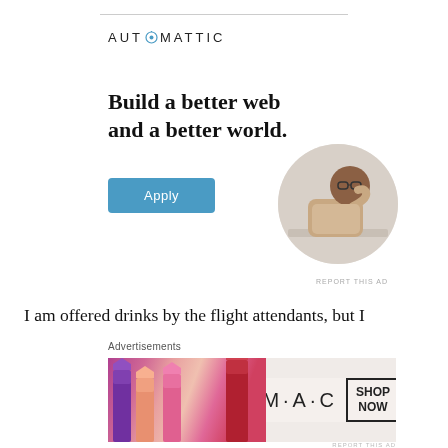[Figure (other): Automattic recruitment advertisement banner with logo, headline 'Build a better web and a better world.', Apply button, and circular photo of a man thinking at a desk.]
I am offered drinks by the flight attendants, but I refuse, because I know there's another hour left in the flight and I won't fit into the tiny bathroom. I am
[Figure (other): M·A·C cosmetics advertisement showing lipsticks and SHOP NOW text.]